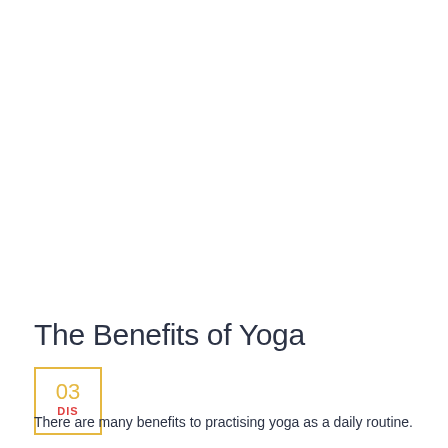The Benefits of Yoga
03
DIS
There are many benefits to practising yoga as a daily routine.